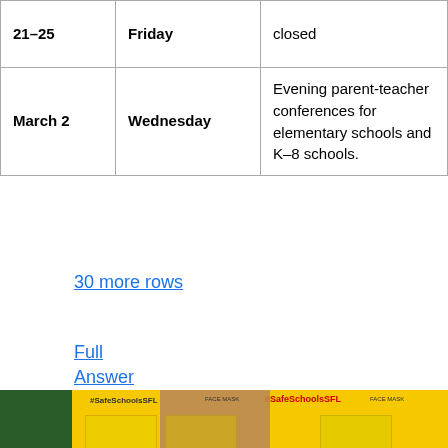| Date | Day | Description |
| --- | --- | --- |
| 21–25 | Friday | closed |
| March 2 | Wednesday | Evening parent-teacher conferences for elementary schools and K–8 schools. |
30 more rows
Full Answer
[Figure (photo): A woman standing in front of a yellow #SafeSchoolsSFL poster with COVID safety guidelines; a YouTube play button overlay is visible at the bottom.]